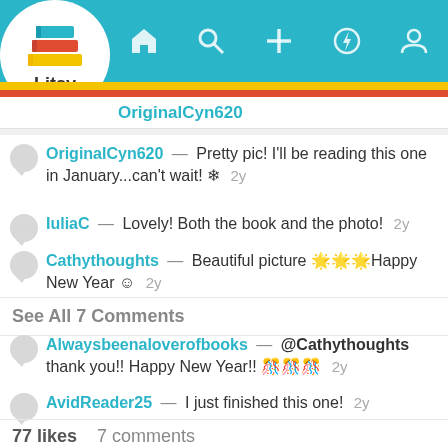[Figure (screenshot): Litsy app logo with colorful book stack icon and 'Litsy' text in a white circle]
Litsy app navigation header with home, search, add, notification, and profile icons on teal background
OriginalCyn620
OriginalCyn620 — Pretty pic! I'll be reading this one in January...can't wait! ❄ 2y
IuliaC — Lovely! Both the book and the photo! 2y
Cathythoughts — Beautiful picture 🌟🌟🌟Happy New Year 🎊 2y
See All 7 Comments
Alwaysbeenaloverofbooks — @Cathythoughts thank you!! Happy New Year!! 🎊🎊🎊 2y
AvidReader25 — I just finished this one! 2y
77 likes    7 comments